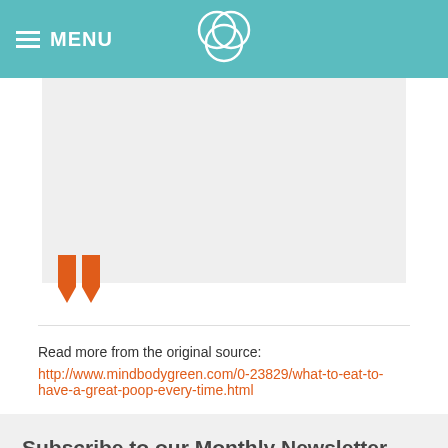MENU
[Figure (logo): Three overlapping circles logo in white outline on teal background]
[Figure (illustration): Orange closing double quotation marks at bottom of grey quote block]
Read more from the original source:
http://www.mindbodygreen.com/0-23829/what-to-eat-to-have-a-great-poop-every-time.html
Subscribe to our Monthly Newsletter